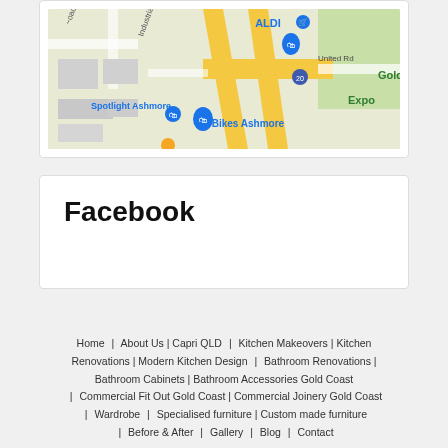[Figure (map): Google Maps screenshot showing Spotlight Ashmore, ALDI, 99 Bikes Ashmore, United Rd, Gold Coast Expo area, with yellow road markings and blue shopping bag map pins.]
Facebook
Home | About Us | Capri QLD | Kitchen Makeovers | Kitchen Renovations | Modern Kitchen Design | Bathroom Renovations | Bathroom Cabinets | Bathroom Accessories Gold Coast | Commercial Fit Out Gold Coast | Commercial Joinery Gold Coast | Wardrobe | Specialised furniture | Custom made furniture | Before & After | Gallery | Blog | Contact